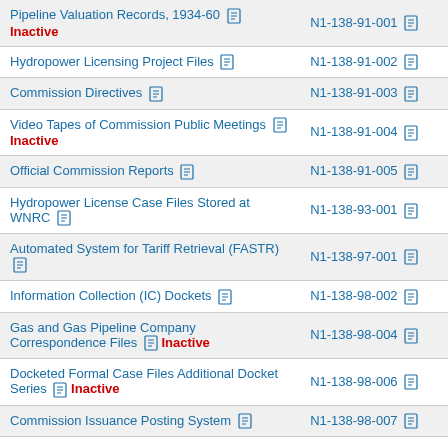| Record Series | NARA ID |
| --- | --- |
| Pipeline Valuation Records, 1934-60 [pdf] Inactive | N1-138-91-001 [pdf] |
| Hydropower Licensing Project Files [pdf] | N1-138-91-002 [pdf] |
| Commission Directives [pdf] | N1-138-91-003 [pdf] |
| Video Tapes of Commission Public Meetings [pdf] Inactive | N1-138-91-004 [pdf] |
| Official Commission Reports [pdf] | N1-138-91-005 [pdf] |
| Hydropower License Case Files Stored at WNRC [pdf] | N1-138-93-001 [pdf] |
| Automated System for Tariff Retrieval (FASTR) [pdf] | N1-138-97-001 [pdf] |
| Information Collection (IC) Dockets [pdf] | N1-138-98-002 [pdf] |
| Gas and Gas Pipeline Company Correspondence Files [pdf] Inactive | N1-138-98-004 [pdf] |
| Docketed Formal Case Files Additional Docket Series [pdf] Inactive | N1-138-98-006 [pdf] |
| Commission Issuance Posting System [pdf] | N1-138-98-007 [pdf] |